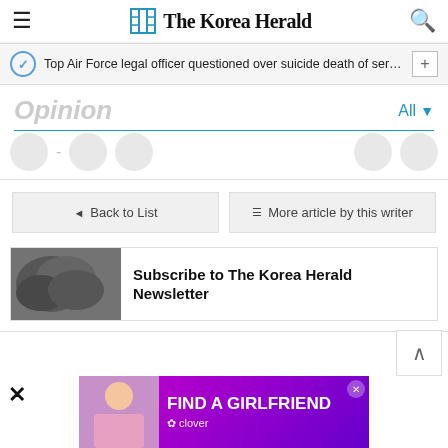The Korea Herald
Top Air Force legal officer questioned over suicide death of servic...
Opinion
All
◄ Back to List
☰ More article by this writer
[Figure (photo): Subscribe to The Korea Herald Newsletter banner with newspaper image]
Subscribe to The Korea Herald Newsletter
[Figure (advertisement): FIND A GIRLFRIEND ad by clover with pink/purple background]